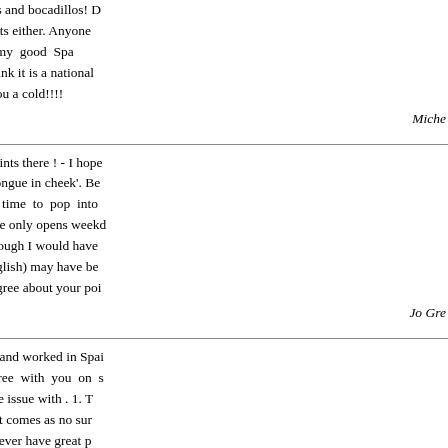toddlers with bananas and bocadillos! D... kids good eating habits either. Anyone Spanish (including my good Spa... hypochondriacs? I think it is a national ... does the wind give you a cold!!!!
Miche...
David, some good points there ! - I hope was intended to be 'tongue in cheek'. Be... often can't find the time to pop into ... (especially when mine only opens weekd... out about Fiestas - though I would have... Press (Spanish or English) may have be... have to completely agree about your poi...
Jo Gre...
Dear Jo, I have lived and worked in Spai... . Although I can agree with you on s... others that I must take issue with . 1. T... cake in their bars so it comes as no sur... find it ! They do however have great p... are advertised , usually in the town hall... know where there town hall is or the na... Spanish women are accustomed to shopp... supermarket in order to get the best dea... many good friends amongst the Spanis... change their opinion if you make sense ... on this one . I have had many good d... chums and have altered their opinion... Spanish woman looks no more wrong...